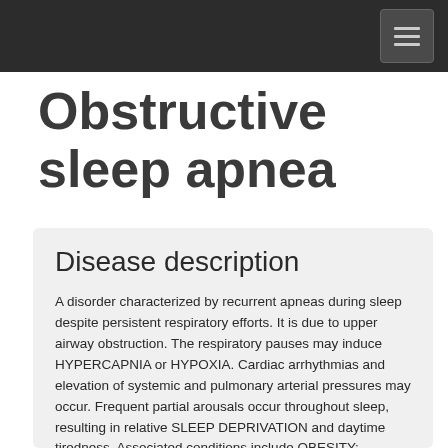Obstructive sleep apnea
Disease description
A disorder characterized by recurrent apneas during sleep despite persistent respiratory efforts. It is due to upper airway obstruction. The respiratory pauses may induce HYPERCAPNIA or HYPOXIA. Cardiac arrhythmias and elevation of systemic and pulmonary arterial pressures may occur. Frequent partial arousals occur throughout sleep, resulting in relative SLEEP DEPRIVATION and daytime tiredness. Associated conditions include OBESITY; ACROMEGALY; HYPOTHYROIDISM or other MYOTONIC DYSTROPHY;